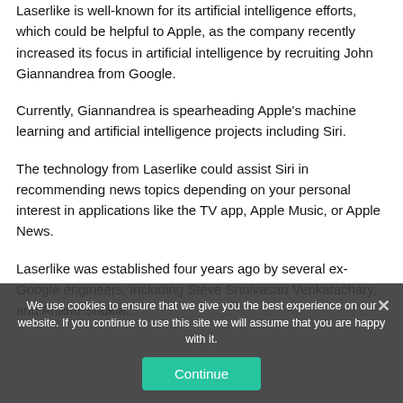Laserlike is well-known for its artificial intelligence efforts, which could be helpful to Apple, as the company recently increased its focus in artificial intelligence by recruiting John Giannandrea from Google.
Currently, Giannandrea is spearheading Apple’s machine learning and artificial intelligence projects including Siri.
The technology from Laserlike could assist Siri in recommending news topics depending on your personal interest in applications like the TV app, Apple Music, or Apple News.
Laserlike was established four years ago by several ex-Google engineers, including Steve Srinivasan Venkatachary, and Anand Shukla.
We use cookies to ensure that we give you the best experience on our website. If you continue to use this site we will assume that you are happy with it.